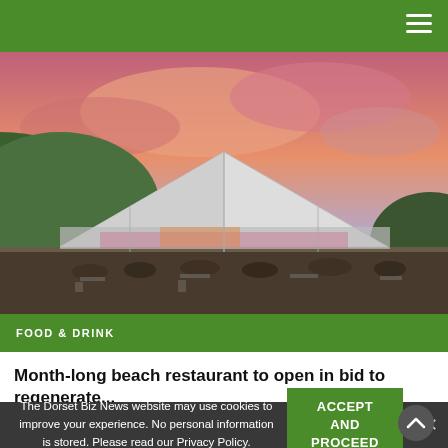Navigation bar with hamburger menu
[Figure (photo): Outdoor beach restaurant event at sunset with large white marquee tent, people dining at tables, dramatic pink and purple clouds, green hills in background]
FOOD & DRINK
Month-long beach restaurant to open in bid to regenerate...
The Dorset Biz News website may use cookies to improve your experience. No personal information is stored. Please read our Privacy Policy.
ACCEPT AND PROCEED
LATEST NEWS